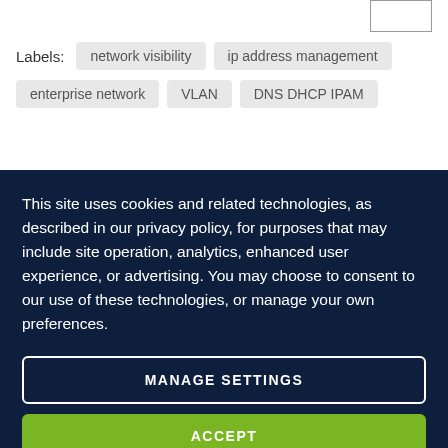[Figure (other): Small rectangular box in the top-right corner, likely a UI button or image placeholder]
Labels: network visibility  ip address management  enterprise network  VLAN  DNS DHCP IPAM
This site uses cookies and related technologies, as described in our privacy policy, for purposes that may include site operation, analytics, enhanced user experience, or advertising. You may choose to consent to our use of these technologies, or manage your own preferences.
MANAGE SETTINGS
ACCEPT
DECLINE ALL